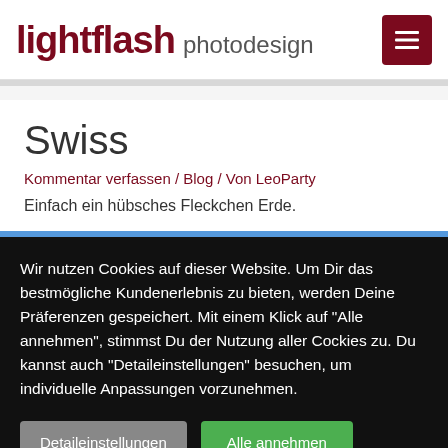lightflash photodesign
Swiss
Kommentar verfassen / Blog / Von LeoParty
Einfach ein hübsches Fleckchen Erde.
Wir nutzen Cookies auf dieser Website. Um Dir das bestmögliche Kundenerlebnis zu bieten, werden Deine Präferenzen gespeichert. Mit einem Klick auf "Alle annehmen", stimmst Du der Nutzung aller Cockies zu. Du kannst auch "Detaileinstellungen" besuchen, um individuelle Anpassungen vorzunehmen.